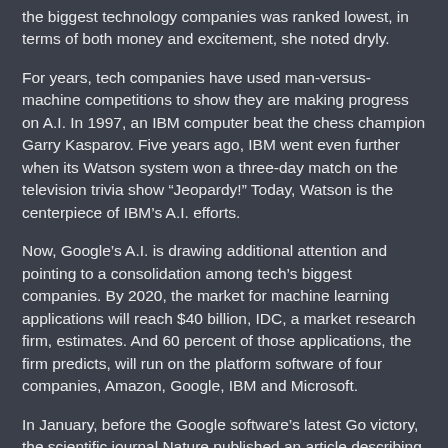the biggest technology companies was ranked lowest, in terms of both money and excitement, she noted dryly.
For years, tech companies have used man-versus-machine competitions to show they are making progress on A.I. In 1997, an IBM computer beat the chess champion Garry Kasparov. Five years ago, IBM went even further when its Watson system won a three-day match on the television trivia show “Jeopardy!” Today, Watson is the centerpiece of IBM’s A.I. efforts.
Now, Google’s A.I. is drawing additional attention and pointing to a consolidation among tech’s biggest companies. By 2020, the market for machine learning applications will reach $40 billion, IDC, a market research firm, estimates. And 60 percent of those applications, the firm predicts, will run on the platform software of four companies, Amazon, Google, IBM and Microsoft.
In January, before the Google software’s latest Go victory, the scientific journal Nature published an article describing how the program had beaten a European Go champion in five consecutive matches, overshadowing an effort by another tech giant, Facebook, to promote its own powerful Go-playing A.I. software. Google’s software went on to beat the Go grandmaster Lee Se-dol 4-1 in South Korea this month.